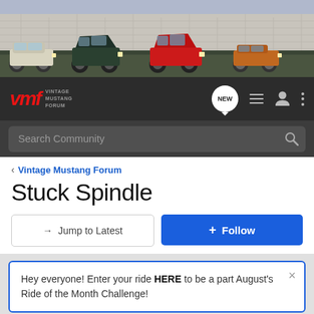[Figure (photo): Banner with four vintage Ford Mustang cars lined up on a road against a wall background]
[Figure (logo): Vintage Mustang Forum (VMF) logo with red italic VMF text and gray VINTAGE MUSTANG FORUM text]
Search Community
< Vintage Mustang Forum
Stuck Spindle
→ Jump to Latest
+ Follow
Hey everyone! Enter your ride HERE to be a part August's Ride of the Month Challenge!